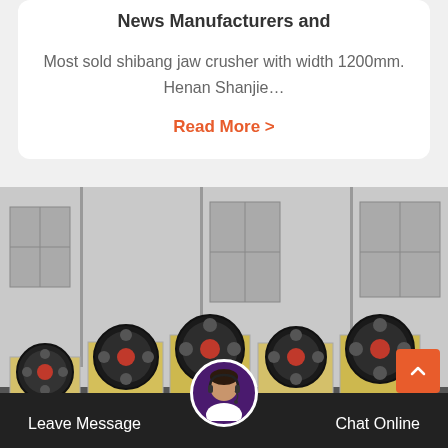Most sold shibang jaw crusher with width 1200mm. Henan Shanjie...
Read More >
[Figure (photo): Multiple jaw crusher machines lined up in a large industrial factory/warehouse building with grey walls and windows. The machines are yellow/cream colored with large black and dark red flywheel wheels on top.]
Leave Message
Chat Online